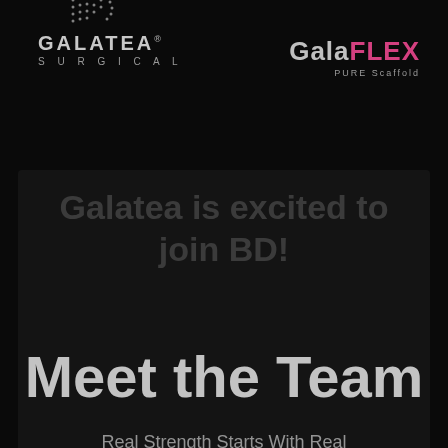[Figure (logo): Galatea Surgical logo with dot grid pattern, text GALATEA SURGICAL in light gray]
[Figure (logo): GalaFLEX logo: Gala in gray, FLEX in pink/magenta, with tagline PURE Scaffold]
Meet the Team
Real Strength Starts With Real Support